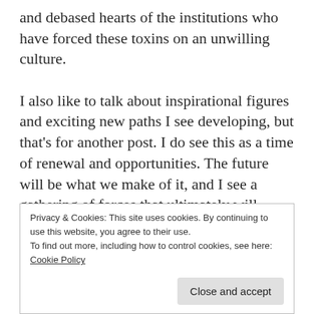and debased hearts of the institutions who have forced these toxins on an unwilling culture.
I also like to talk about inspirational figures and exciting new paths I see developing, but that's for another post. I do see this as a time of renewal and opportunities. The future will be what we make of it, and I see a gathering of forces that ultimately will change the course of civilization. It's part of what artists do; on an archetypal level we get the news before others, and help spread the word. Big changes are
Privacy & Cookies: This site uses cookies. By continuing to use this website, you agree to their use.
To find out more, including how to control cookies, see here: Cookie Policy
problem indeed.